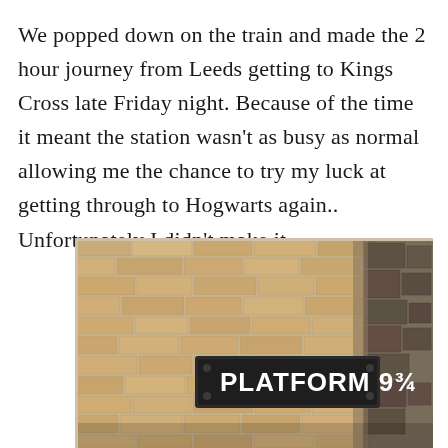We popped down on the train and made the 2 hour journey from Leeds getting to Kings Cross late Friday night. Because of the time it meant the station wasn't as busy as normal allowing me the chance to try my luck at getting through to Hogwarts again.. Unfortunately I didn't make it.
[Figure (photo): Photo of the Platform 9¾ sign at Kings Cross station, mounted on a brick wall. The sign is dark/black with white bold text reading 'PLATFORM 9¾'. The wall is made of tan/beige bricks on the left and darker, older stone bricks on the right.]